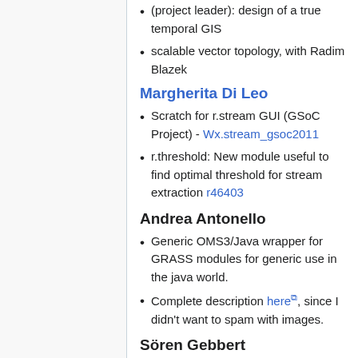(project leader): design of a true temporal GIS
scalable vector topology, with Radim Blazek
Margherita Di Leo
Scratch for r.stream GUI (GSoC Project) - Wx.stream_gsoc2011
r.threshold: New module useful to find optimal threshold for stream extraction r46403
Andrea Antonello
Generic OMS3/Java wrapper for GRASS modules for generic use in the java world.
Complete description here, since I didn't want to spam with images.
Sören Gebbert